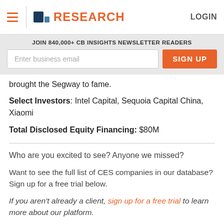CB Insights RESEARCH | LOGIN
JOIN 840,000+ CB INSIGHTS NEWSLETTER READERS
brought the Segway to fame.
Select Investors: Intel Capital, Sequoia Capital China, Xiaomi
Total Disclosed Equity Financing: $80M
Who are you excited to see? Anyone we missed?
Want to see the full list of CES companies in our database? Sign up for a free trial below.
If you aren't already a client, sign up for a free trial to learn more about our platform.